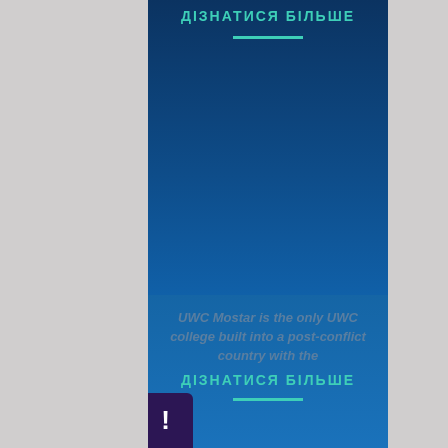ДІЗНАТИСЯ БІЛЬШЕ
UWC MOSTAR
EUROPE
UWC Mostar is the only UWC college built into a post-conflict country with the
ДІЗНАТИСЯ БІЛЬШЕ